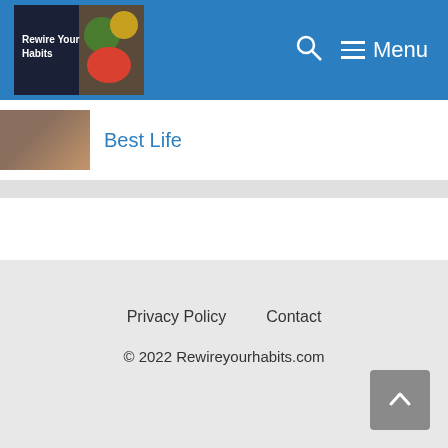Rewire Your Habits — Menu
[Figure (screenshot): Partial view of a blog post link with thumbnail and 'Best Life' text in blue]
Follow Me
Facebook
Twitter
Instagram
Privacy Policy   Contact
© 2022 Rewireyourhabits.com